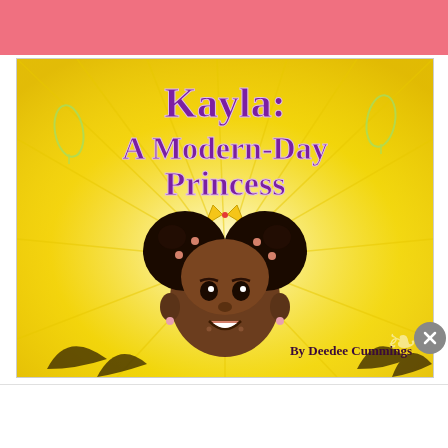[Figure (illustration): Pink/salmon colored banner bar at the top of the page]
[Figure (illustration): Book cover for 'Kayla: A Modern-Day Princess' by Deedee Cummings. Yellow/golden background with sunray pattern, purple decorative font title, cartoon illustration of a young Black girl with two puff buns and a gold crown, leaf shapes on sides, author name at bottom right.]
[Figure (illustration): Close/dismiss button (X in circle) overlaid at bottom-right corner of book cover]
Advertisements
Professionally designed sites in less than a week